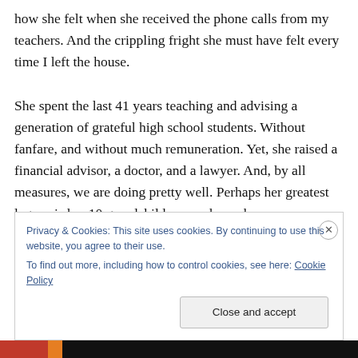how she felt when she received the phone calls from my teachers. And the crippling fright she must have felt every time I left the house.
She spent the last 41 years teaching and advising a generation of grateful high school students. Without fanfare, and without much remuneration. Yet, she raised a financial advisor, a doctor, and a lawyer. And, by all measures, we are doing pretty well. Perhaps her greatest legacy is her 10 grandchildren, each one happy, secure, and talented, with unlimited potential for the future.
It's funny. Sharks get a whole week; mothers get one day.
Privacy & Cookies: This site uses cookies. By continuing to use this website, you agree to their use.
To find out more, including how to control cookies, see here: Cookie Policy